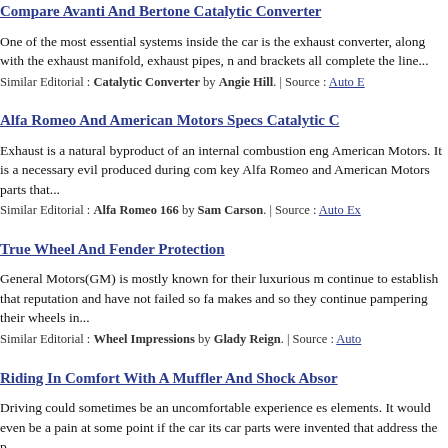Compare Avanti And Bertone Catalytic Converter
One of the most essential systems inside the car is the exhaust converter, along with the exhaust manifold, exhaust pipes, n and brackets all complete the line...
Similar Editorial : Catalytic Converter by Angie Hill. | Source : Auto E
Alfa Romeo And American Motors Specs Catalytic C
Exhaust is a natural byproduct of an internal combustion eng American Motors. It is a necessary evil produced during com key Alfa Romeo and American Motors parts that...
Similar Editorial : Alfa Romeo 166 by Sam Carson. | Source : Auto Ex
True Wheel And Fender Protection
General Motors(GM) is mostly known for their luxurious m continue to establish that reputation and have not failed so fa makes and so they continue pampering their wheels in...
Similar Editorial : Wheel Impressions by Glady Reign. | Source : Auto
Riding In Comfort With A Muffler And Shock Absor
Driving could sometimes be an uncomfortable experience es elements. It would even be a pain at some point if the car its car parts were invented that address the p...
Similar Editorial : Performance Muffler by Nathan Young. | Source : A